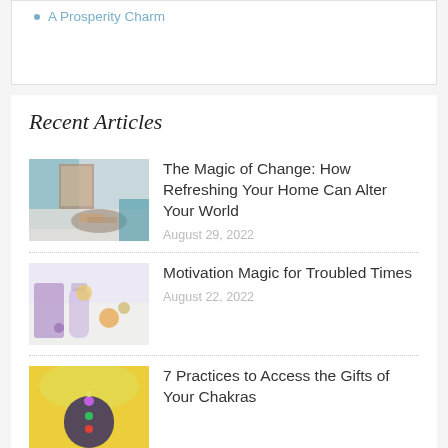A Prosperity Charm
Recent Articles
[Figure (photo): Person lounging with striped socks and a cat on a bed near a window with teal curtains]
The Magic of Change: How Refreshing Your Home Can Alter Your World
August 29, 2022
[Figure (photo): Crystals, bottles with colorful contents, candle and small objects on a white surface]
Motivation Magic for Troubled Times
August 22, 2022
[Figure (photo): Silhouette of a meditating person with chakra dots on abstract colorful background]
7 Practices to Access the Gifts of Your Chakras